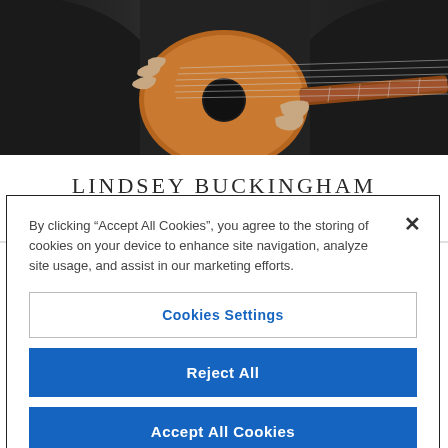[Figure (photo): Person in black leather jacket playing an acoustic guitar against a dark background, showing torso and hands only]
LINDSEY BUCKINGHAM
6 OCTOBER
By clicking “Accept All Cookies”, you agree to the storing of cookies on your device to enhance site navigation, analyze site usage, and assist in our marketing efforts.
Cookies Settings
Reject All
Accept All Cookies